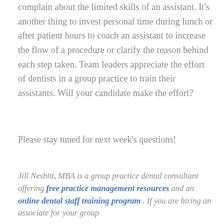complain about the limited skills of an assistant. It's another thing to invest personal time during lunch or after patient hours to coach an assistant to increase the flow of a procedure or clarify the reason behind each step taken. Team leaders appreciate the effort of dentists in a group practice to train their assistants. Will your candidate make the effort?
Please stay tuned for next week's questions!
Jill Nesbitt, MBA is a group practice dental consultant offering free practice management resources and an online dental staff training program . If you are hiring an associate for your group